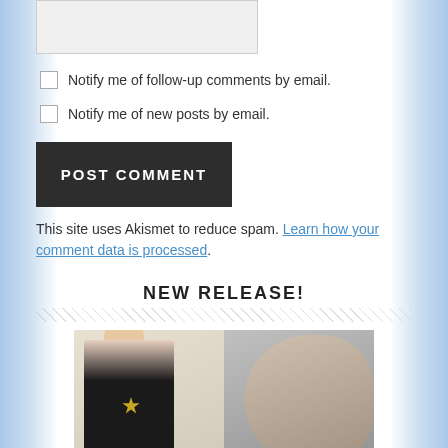[Figure (other): Input box / text area (light gray rectangle)]
Notify me of follow-up comments by email.
Notify me of new posts by email.
POST COMMENT
This site uses Akismet to reduce spam. Learn how your comment data is processed.
NEW RELEASE!
[Figure (photo): Book cover photo showing a woman in black top with badge necklace and a man's face in the background, in black and white/grayscale]